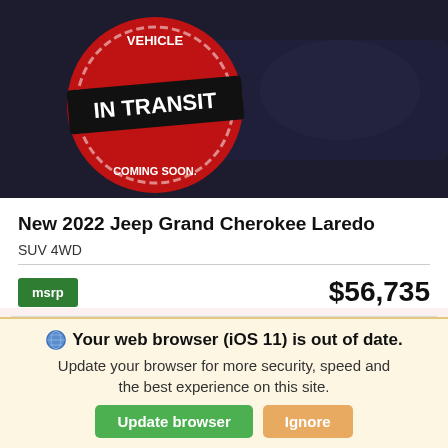[Figure (photo): Vehicle in transit badge overlay on dark car interior background. Red circular badge with white text 'VEHICLE IN TRANSIT COMING SOON.' and a rectangular banner reading 'IN TRANSIT' in white bold text on black background.]
New 2022 Jeep Grand Cherokee Laredo
SUV 4WD
msrp   $56,735
*First Name   *Last Name
*Email
Phone
Your web browser (iOS 11) is out of date. Update your browser for more security, speed and the best experience on this site.
Update browser   Ignore